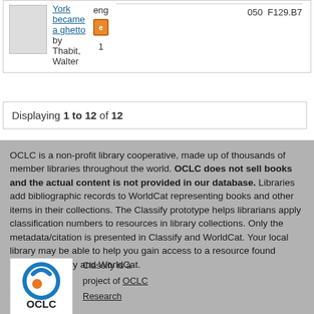| Title | Lang | Format | Count | Call# |
| --- | --- | --- | --- | --- |
| York became a ghetto by Thabit, Walter | eng | [ebook] | 1 | 050 F129.B7 |
Displaying 1 to 12 of 12
OCLC is a non-profit library cooperative, made up of thousands of member libraries throughout the world. OCLC does not sell books and the actual content is not provided in our database. Libraries add bibliographic records to WorldCat representing books and other items in their collections. The Classify prototype helps librarians apply classification numbers to resources in library collections. Only the metadata/citation is presented in Classify and WorldCat. Your local library may be able to help you gain access to a resource found through Classify and WorldCat.
[Figure (logo): OCLC logo with circular icon and OCLC text]
Classify is a project of OCLC Research
© 2008 – 2022 OCLC, Inc.
OCLC Privacy